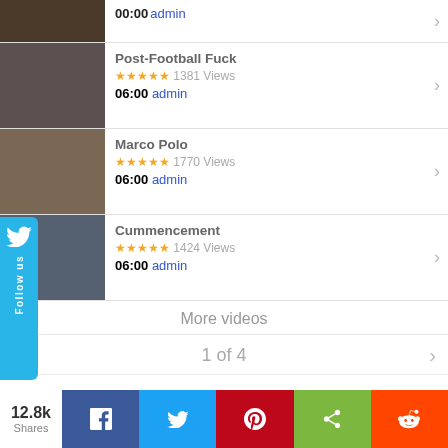[Figure (screenshot): Partial video thumbnail at top of list]
00:00 admin
[Figure (photo): Thumbnail for Post-Football Fuck video]
Post-Football Fuck
★★★★★ 1381 Views
06:00 admin
[Figure (photo): Thumbnail for Marco Polo video]
Marco Polo
★★★★★ 1770 Views
06:00 admin
[Figure (photo): Thumbnail for Cummencement video]
Cummencement
★★★★★ 1424 Views
06:00 admin
More videos
1 of 4
12.8k Shares
[Figure (infographic): Social share buttons: Facebook, Twitter, Pinterest, Share, Reddit]